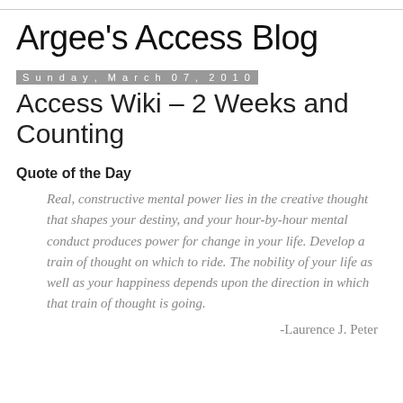Argee's Access Blog
Sunday, March 07, 2010
Access Wiki – 2 Weeks and Counting
Quote of the Day
Real, constructive mental power lies in the creative thought that shapes your destiny, and your hour-by-hour mental conduct produces power for change in your life. Develop a train of thought on which to ride. The nobility of your life as well as your happiness depends upon the direction in which that train of thought is going.
-Laurence J. Peter